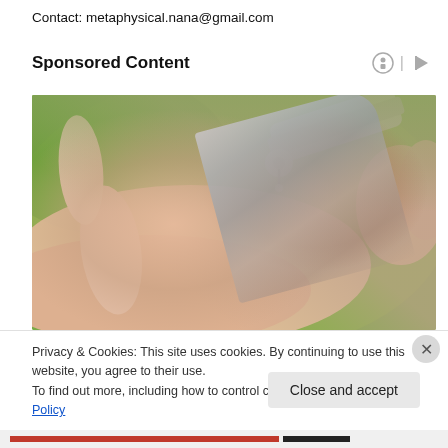Contact: metaphysical.nana@gmail.com
Sponsored Content
[Figure (photo): Close-up photo of a blood glucose test: a lancing device touching the tip of a finger on an outstretched hand, with a green blurred background.]
Privacy & Cookies: This site uses cookies. By continuing to use this website, you agree to their use.
To find out more, including how to control cookies, see here: Cookie Policy